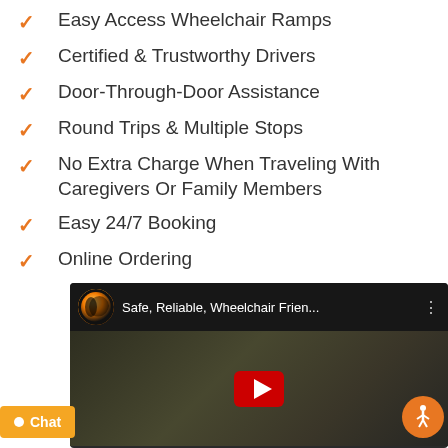Easy Access Wheelchair Ramps
Certified & Trustworthy Drivers
Door-Through-Door Assistance
Round Trips & Multiple Stops
No Extra Charge When Traveling With Caregivers Or Family Members
Easy 24/7 Booking
Online Ordering
[Figure (screenshot): YouTube video thumbnail with title 'Safe, Reliable, Wheelchair Frien...' showing people outdoors with a play button overlay]